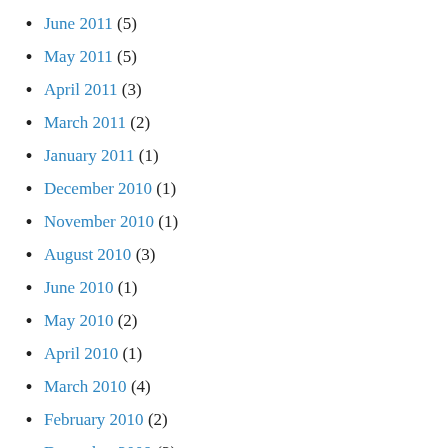June 2011 (5)
May 2011 (5)
April 2011 (3)
March 2011 (2)
January 2011 (1)
December 2010 (1)
November 2010 (1)
August 2010 (3)
June 2010 (1)
May 2010 (2)
April 2010 (1)
March 2010 (4)
February 2010 (2)
December 2009 (2)
November 2009 (2)
October 2009 (2)